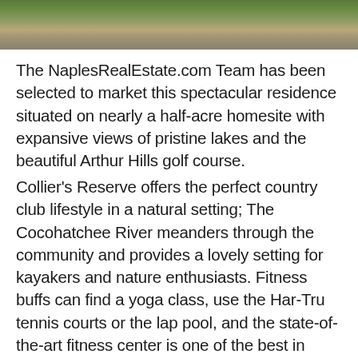[Figure (photo): Outdoor photo showing a pathway or ground surface with greenery and natural landscape elements visible at the top of the page]
The NaplesRealEstate.com Team has been selected to market this spectacular residence situated on nearly a half-acre homesite with expansive views of pristine lakes and the beautiful Arthur Hills golf course.
Collier's Reserve offers the perfect country club lifestyle in a natural setting; The Cocohatchee River meanders through the community and provides a lovely setting for kayakers and nature enthusiasts. Fitness buffs can find a yoga class, use the Har-Tru tennis courts or the lap pool, and the state-of-the-art fitness center is one of the best in Naples! Your dining choices include the elegant Cocohatchee Room, located in the plantation-style clubhouse, or the more relaxed atmosphere of the Boathouse restaurant with a casual menu and peaceful river views.